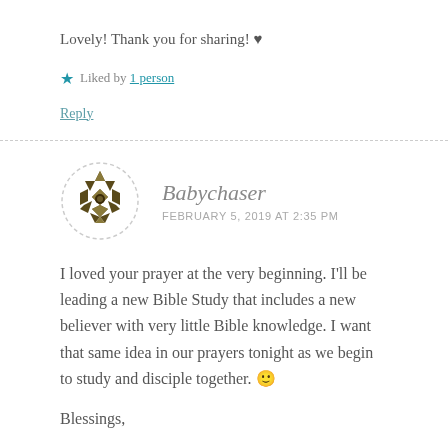Lovely! Thank you for sharing! ♥
★ Liked by 1 person
Reply
Babychaser
FEBRUARY 5, 2019 AT 2:35 PM
I loved your prayer at the very beginning. I'll be leading a new Bible Study that includes a new believer with very little Bible knowledge. I want that same idea in our prayers tonight as we begin to study and disciple together. 🙂
Blessings,